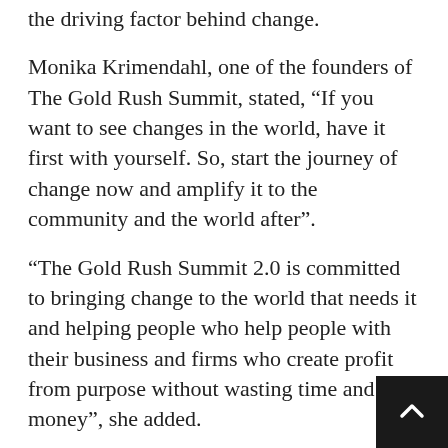the driving factor behind change.
Monika Krimendahl, one of the founders of The Gold Rush Summit, stated, “If you want to see changes in the world, have it first with yourself. So, start the journey of change now and amplify it to the community and the world after”.
“The Gold Rush Summit 2.0 is committed to bringing change to the world that needs it and helping people who help people with their business and firms who create profit from purpose without wasting time and money”, she added.
The largest online entrepreneur’s summit of the year goes live on September 15-17, 11a-6p +0000. The Gold Rush Summit 2.0, an incredible three-day event, will stream interviews and sessions with some of the World’s Top Entrepreneurs, sharing